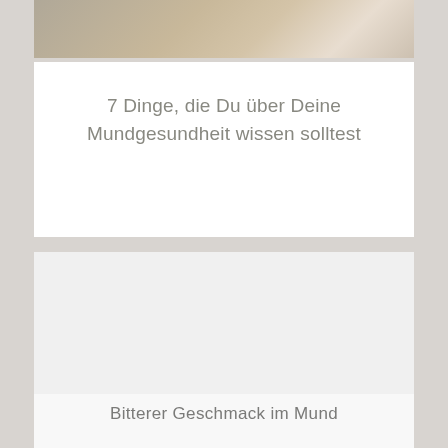[Figure (photo): Blurred photo of a person, warm beige/brown tones, partial view at top of page]
7 Dinge, die Du über Deine Mundgesundheit wissen solltest
[Figure (photo): Large white/light gray image placeholder area in second card]
Bitterer Geschmack im Mund